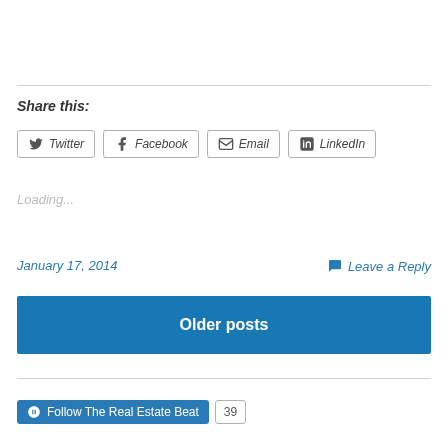Share this:
Twitter Facebook Email LinkedIn
Loading...
January 17, 2014
Leave a Reply
Older posts
Follow The Real Estate Beat
39